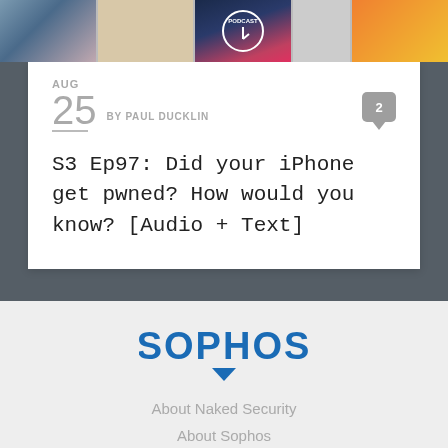[Figure (screenshot): Top strip showing partial images of Apple devices and podcast artwork]
AUG
25  BY PAUL DUCKLIN
[Figure (other): Comment badge showing number 2]
S3 Ep97: Did your iPhone get pwned? How would you know? [Audio + Text]
[Figure (logo): Sophos logo in blue with downward triangle arrow below]
About Naked Security
About Sophos
Send us a tip